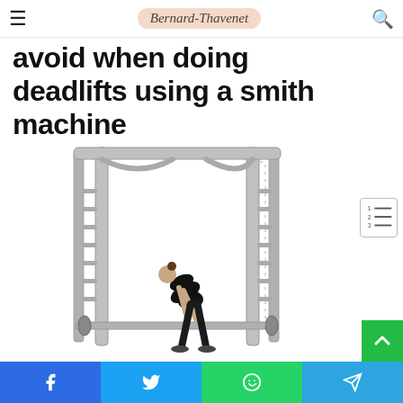Bernard-Thavenet
avoid when doing deadlifts using a smith machine
[Figure (photo): Woman performing a deadlift on a silver Smith machine, bending forward to grip the barbell at the bottom of the machine, on a white background.]
Facebook | Twitter | WhatsApp | Telegram share buttons